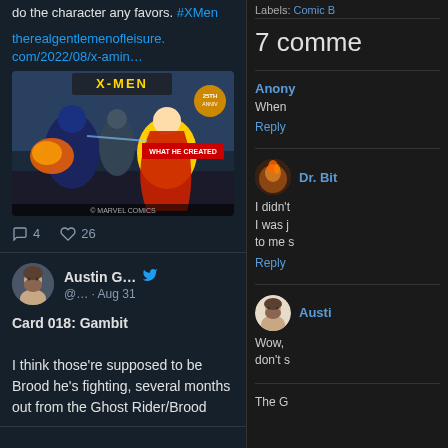do the character any favors. #XMen
therealgentlemenofleisure.com/2022/08/x-amin…
[Figure (photo): X-Men comic book cover artwork showing superhero characters fighting, including a character in a blue and gold costume and one with a red cape, with 'WHAT HE CREATED' text visible]
4  26
Austin G… @… · Aug 31
Card 018: Gambit

I think those're supposed to be Brood he's fighting, several months out from the Ghost Rider/Brood
Labels: Comic B
7 comme
Anony
When
Reply
Dr. Bit
I didn't I was j to me s
Reply
Austi
Wow, don't s
The G